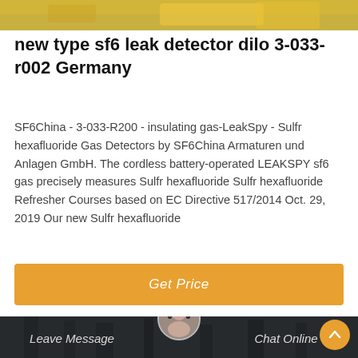[Figure (photo): Top portion of a yellow SF6 gas leak detector device on a light background]
new type sf6 leak detector dilo 3-033-r002 Germany
SF6China - 3-033-R200 - insulating gas-LeakSpy - Sulfr hexafluoride Gas Detectors by SF6China Armaturen und Anlagen GmbH. The cordless battery-operated LEAKSPY sf6 gas precisely measures Sulfr hexafluoride Sulfr hexafluoride Refresher Courses based on EC Directive 517/2014 Oct. 29, 2019 Our new Sulfr hexafluoride
[Figure (other): Get Price button - orange/amber colored rectangular button]
[Figure (photo): Industrial facility background with tall structures/chimneys in dark/gray tones, with a customer service representative headset icon and Leave Message / Chat Online footer bar]